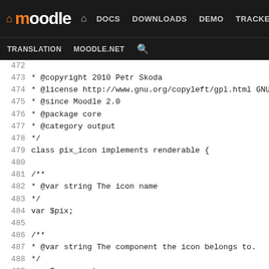[Figure (screenshot): Moodle developer documentation website navigation bar with logo, DOCS, DOWNLOADS, DEMO, TRACKER, DEV links, and TRANSLATION, MOODLE.NET, search links below]
Code listing lines 472-498 showing PHP class pix_icon implements renderable with phpdoc comments for @copyright, @license, @since, @package, @category, var $pix, var $component, var $attributes = array(), and Constructor